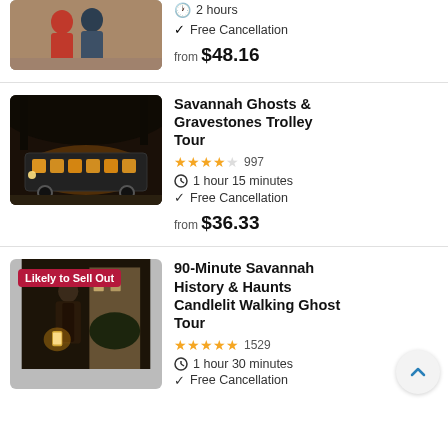[Figure (photo): Two people standing indoors, one in a red top]
Free Cancellation
from $48.16
[Figure (photo): Nighttime trolley with lit windows on a dark tree-lined street]
Savannah Ghosts & Gravestones Trolley Tour
997
1 hour 15 minutes
Free Cancellation
from $36.33
[Figure (photo): Person holding a lantern at night with 'Likely to Sell Out' badge]
90-Minute Savannah History & Haunts Candlelit Walking Ghost Tour
1529
1 hour 30 minutes
Free Cancellation